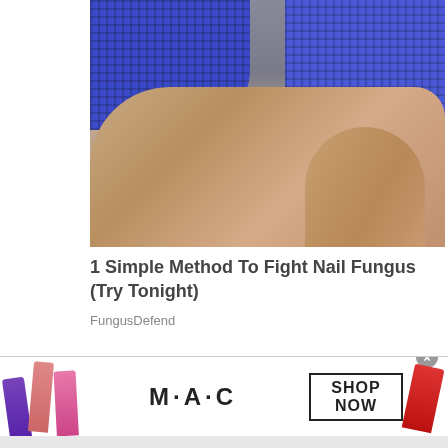[Figure (photo): Close-up photo of fingers wearing blue mesh/chain-mail gloves, showing skin beneath the glove openings]
1 Simple Method To Fight Nail Fungus (Try Tonight)
FungusDefend
[Figure (photo): MAC Cosmetics advertisement banner showing lipsticks in purple, pink, and red colors, MAC logo, and SHOP NOW button]